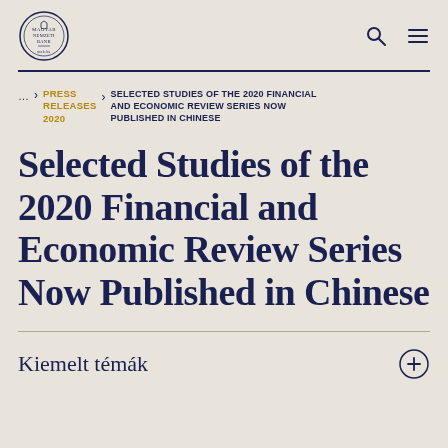Magyar Nemzeti Bank logo and navigation icons
... > PRESS RELEASES 2020 > SELECTED STUDIES OF THE 2020 FINANCIAL AND ECONOMIC REVIEW SERIES NOW PUBLISHED IN CHINESE
Selected Studies of the 2020 Financial and Economic Review Series Now Published in Chinese
Kiemelt témák